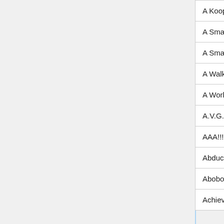| A Koopa's Revenge 2 | N/A | N/A |
| A Small Favor | N/A | N/A |
| A Small Talk At The Back Of Beyond | N/A | N/A |
| A Walk In The Park | N/A | N/A |
| A World of Difference | N/A | N/A |
| A.V.G.M. | N/A | N/A |
| AAA!!! BOMBS!!! | N/A | N/A |
| Abduction | N/A | N/A |
| Abobo's Big Adventure | N/A | N/A |
| Achievement Unlocked | Yes | Faustas |